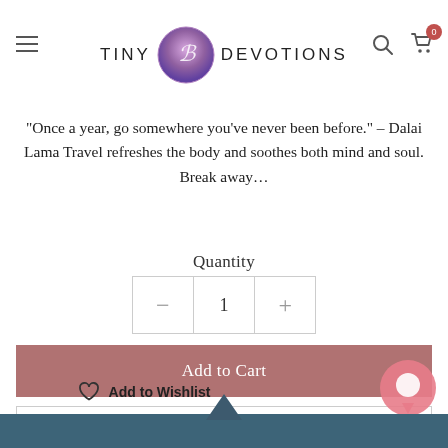TINY DEVOTIONS (logo)
“Once a year, go somewhere you’ve never been before.” – Dalai Lama Travel refreshes the body and soothes both mind and soul. Break away…
Quantity
1
Add to Cart
Buy now
Add to Wishlist